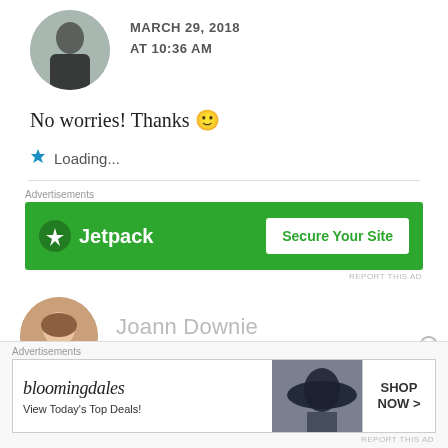[Figure (photo): Circular avatar photo of a person in dark clothing standing outdoors]
MARCH 29, 2018
AT 10:36 AM
No worries! Thanks 🙂
Loading...
[Figure (other): Jetpack advertisement banner with green background showing Jetpack logo and Secure Your Site button]
REPORT THIS AD
[Figure (photo): Circular avatar photo of a woman with reddish-brown hair]
Joann Downie
MARCH 28, 2018 AT 2:50 AM
[Figure (other): Bloomingdales advertisement banner showing logo, View Today's Top Deals text, woman with hat, and Shop Now button]
REPORT THIS AD